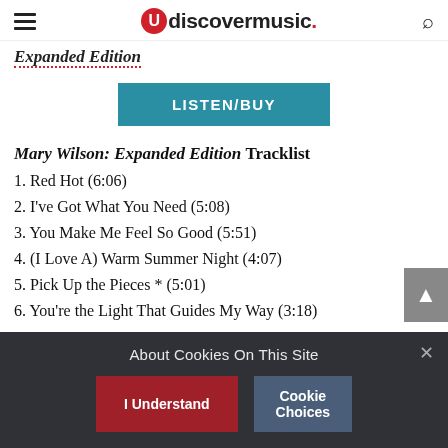udiscovermusic.
Expanded Edition
LISTEN/BUY
Mary Wilson: Expanded Edition Tracklist
1. Red Hot (6:06)
2. I've Got What You Need (5:08)
3. You Make Me Feel So Good (5:51)
4. (I Love A) Warm Summer Night (4:07)
5. Pick Up the Pieces * (5:01)
6. You're the Light That Guides My Way (3:18)
About Cookies On This Site
I Understand
Cookie Choices